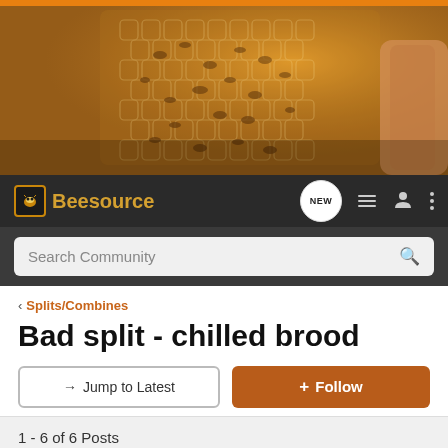[Figure (photo): Close-up photo of honeybees on honeycomb]
Beesource | NEW | Search Community
Splits/Combines
Bad split - chilled brood
→ Jump to Latest | + Follow
1 - 6 of 6 Posts
TurtleSpider · Registered 🇦🇺
Joined Mar 27, 2018 · 47 Posts